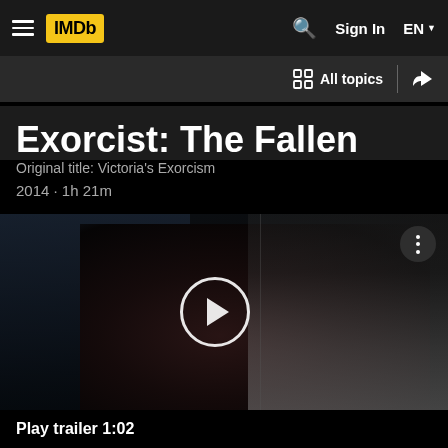IMDb navigation bar with hamburger menu, IMDb logo, search, Sign In, EN
Exorcist: The Fallen
Original title: Victoria's Exorcism
2014 · 1h 21m
[Figure (screenshot): Dark movie trailer thumbnail showing shadowy figure with play button overlay. Two panels visible. Three-dot menu in top right corner.]
Play trailer 1:02